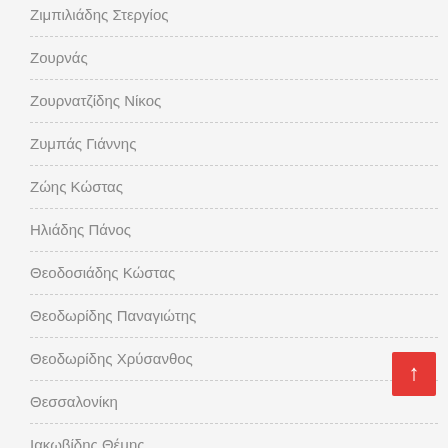Ζιμπιλιάδης Στεργίος
Ζουρνάς
Ζουρνατζίδης Νίκος
Ζυμπάς Γιάννης
Ζώης Κώστας
Ηλιάδης Πάνος
Θεοδοσιάδης Κώστας
Θεοδωρίδης Παναγιώτης
Θεοδωρίδης Χρύσανθος
Θεσσαλονίκη
Ιακωβίδης Θέμης
Ιακωβίδης Μίτκας
ΙντΖές Παύλος